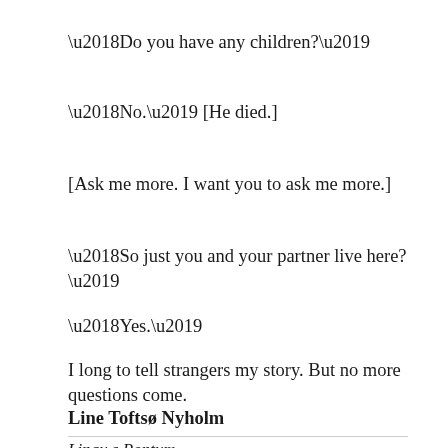‘Do you have any children?’
‘No.’ [He died.]
[Ask me more. I want you to ask me more.]
‘So just you and your partner live here?’
‘Yes.’
I long to tell strangers my story. But no more questions come.
Line Toftsø Nyholm
Lingu s Pontum